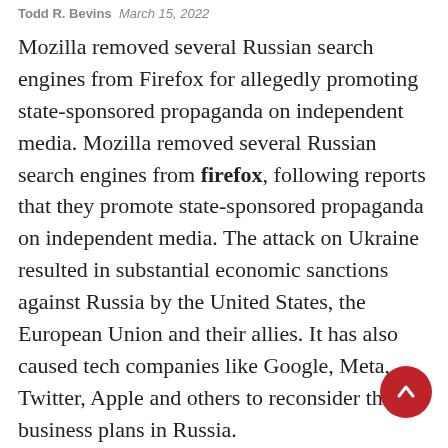Todd R. Bevins · March 15, 2022
Mozilla removed several Russian search engines from Firefox for allegedly promoting state-sponsored propaganda on independent media. Mozilla removed several Russian search engines from firefox, following reports that they promote state-sponsored propaganda on independent media. The attack on Ukraine resulted in substantial economic sanctions against Russia by the United States, the European Union and their allies. It has also caused tech companies like Google, Meta, Twitter, Apple and others to reconsider their business plans in Russia.
Many social media companies already limit or prevent Russian state media and other Russian government agencies from spreading propaganda